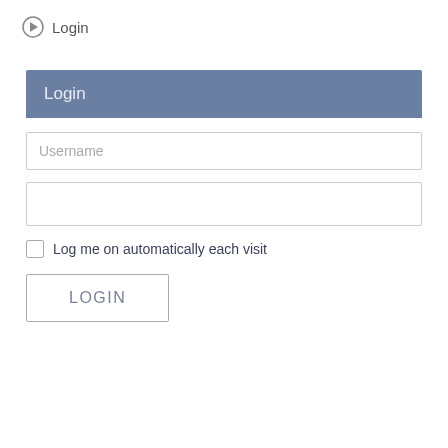Login
Login
Username
Log me on automatically each visit
LOGIN